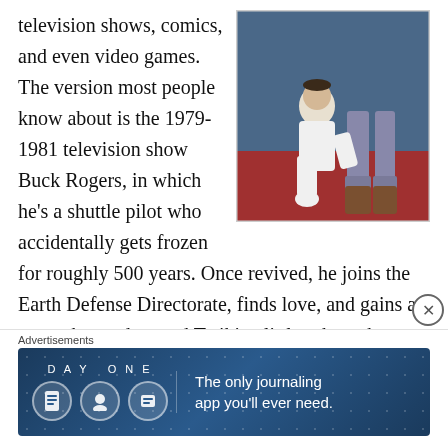[Figure (photo): Photo of a person kneeling on a red floor, wearing white outfit and white boots, next to robotic legs/costume pieces, in front of a blue background]
television shows, comics, and even video games.  The version most people know about is the 1979-1981 television show Buck Rogers, in which he’s a shuttle pilot who accidentally gets frozen for roughly 500 years. Once revived, he joins the Earth Defense Directorate, finds love, and gains a pet ambuquad named Twiki, a little robot who seems to have been designed to cash in on the popularity of C3PO and R2-D2 from the newly released film Star
[Figure (infographic): Advertisement banner for Day One journaling app with tagline 'The only journaling app you'll ever need.' on a dark blue starry background with three circular icons]